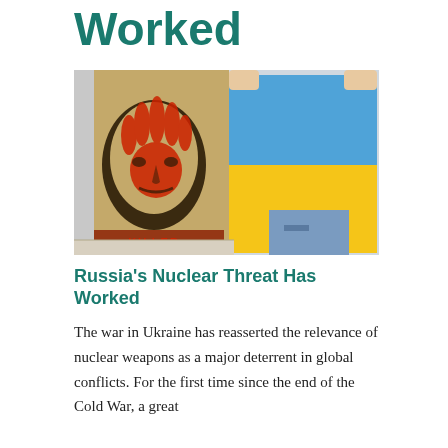Worked
[Figure (photo): A person holds up a protest poster depicting Vladimir Putin's face with a large red handprint over it, alongside someone holding a blue and yellow Ukrainian flag. The poster has text at the bottom partially visible.]
Russia's Nuclear Threat Has Worked
The war in Ukraine has reasserted the relevance of nuclear weapons as a major deterrent in global conflicts. For the first time since the end of the Cold War, a great